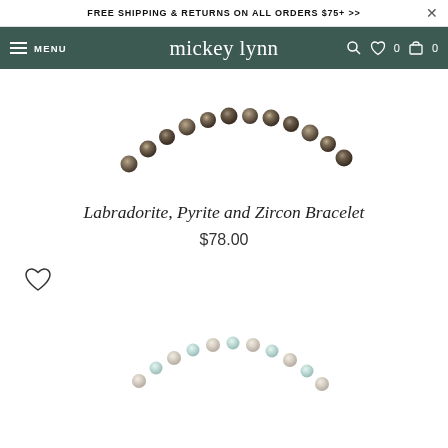FREE SHIPPING & RETURNS ON ALL ORDERS $75+ >>
mickey lynn — MENU | search | wishlist 0 | cart 0
[Figure (photo): Close-up of a beaded bracelet with dark metallic beads (labradorite, pyrite, and zircon), curved in an arc on white background, partially cropped at top]
Labradorite, Pyrite and Zircon Bracelet
$78.00
[Figure (photo): Heart/wishlist icon outline]
[Figure (photo): Second product bracelet image showing a delicate light-colored beaded bracelet on white background, partially cropped at bottom]